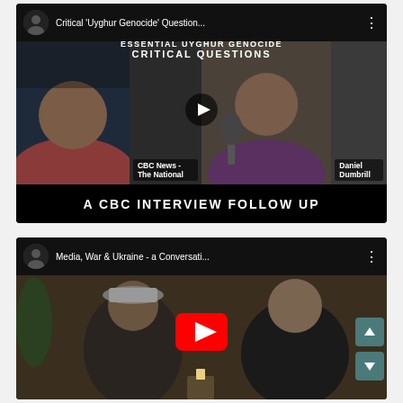[Figure (screenshot): YouTube video thumbnail for 'Critical Uyghur Genocide Question...' showing two people in a split-screen interview format with text overlay 'ESSENTIAL UYGHUR GENOCIDE CRITICAL QUESTIONS' and 'A CBC INTERVIEW FOLLOW UP'. Labels show 'CBC News - The National' on left and 'Daniel Dumbrill' on right.]
[Figure (screenshot): YouTube video thumbnail for 'Media, War & Ukraine - a Conversati...' showing two men sitting in a casual interview setting, with a red YouTube play button overlay and scroll navigation arrows on the right side.]